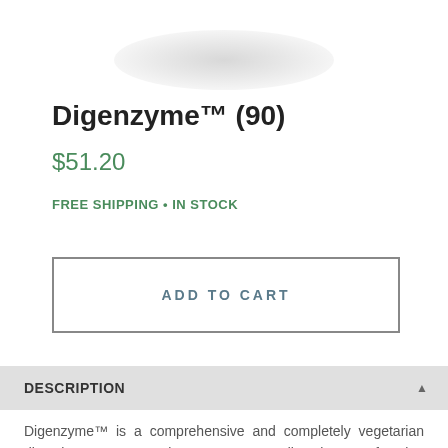[Figure (photo): Partial view of a white cylindrical supplement container, showing the bottom curved edge against a white background with subtle shadow.]
Digenzyme™ (90)
$51.20
FREE SHIPPING • IN STOCK
ADD TO CART
DESCRIPTION
Digenzyme™ is a comprehensive and completely vegetarian digestive enzyme supplement to support digestive tract function and nutrient